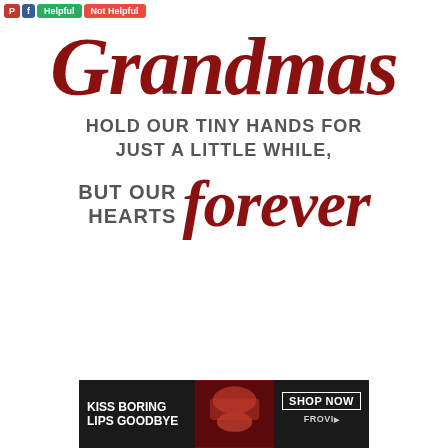[Figure (screenshot): Social media action buttons: Pinterest (red P), Facebook (blue fb), green Helpful button, red Not Helpful button]
[Figure (illustration): Motivational quote image: 'Grandmas hold our tiny hands for just a little while, but our hearts forever' in dark red cursive and gray uppercase sans-serif text on white background]
[Figure (screenshot): Advertisement banner: 'KISS BORING LIPS GOODBYE' with a woman's face and red lips, SHOP NOW button, dark background]